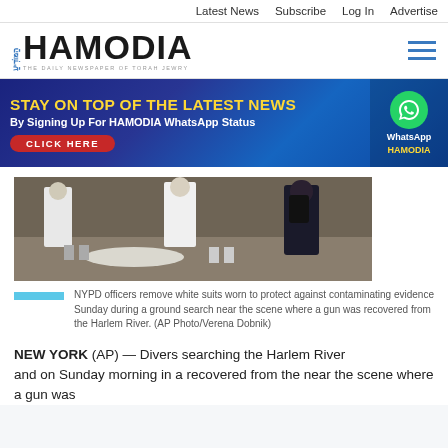Latest News  Subscribe  Log In  Advertise
[Figure (logo): Hamodia newspaper logo — Hebrew text vertical, HAMODIA bold, subtitle THE DAILY NEWSPAPER OF TORAH JEWRY]
[Figure (infographic): Banner ad: STAY ON TOP OF THE LATEST NEWS By Signing Up For HAMODIA WhatsApp Status CLICK HERE, with WhatsApp logo and HAMODIA branding on right side]
[Figure (photo): NYPD officers in white forensic suits at a crime scene, ground search near the Harlem River]
NYPD officers remove white suits worn to protect against contaminating evidence Sunday during a ground search near the scene where a gun was recovered from the Harlem River. (AP Photo/Verena Dobnik)
NEW YORK (AP) — Divers searching the Harlem River and on Sunday morning in a recovered from the near the scene where a gun was